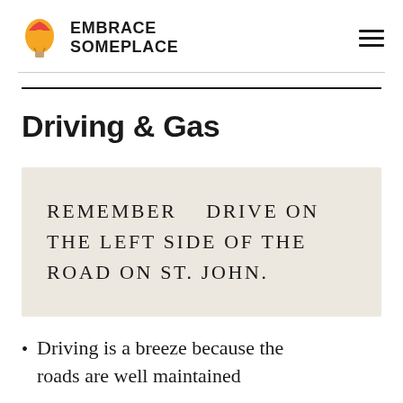EMBRACE SOMEPLACE
Driving & Gas
REMEMBER   DRIVE ON THE LEFT SIDE OF THE ROAD ON ST. JOHN.
Driving is a breeze because the roads are well maintained